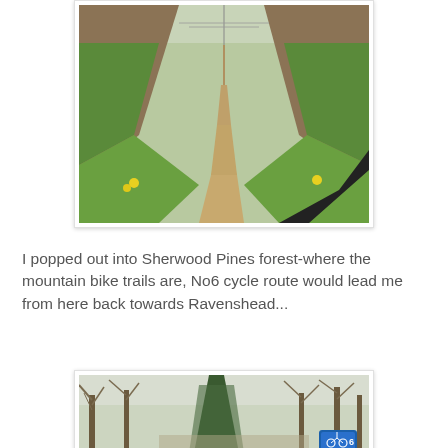[Figure (photo): View from a bicycle handlebar of a narrow dirt path stretching into the distance, flanked by green grassy embankments with sparse yellow flowers and brown hillsides, with power lines visible in the background.]
I popped out into Sherwood Pines forest-where the mountain bike trails are, No6 cycle route would lead me from here back towards Ravenshead...
[Figure (photo): View of a wooded forest area with bare trees, a blue cycling route sign visible in the lower right, and a path leading through the trees.]